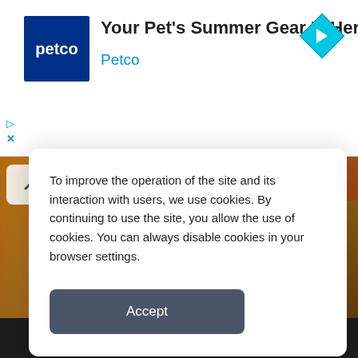[Figure (screenshot): Petco advertisement banner with dark blue logo showing 'petco' text, ad headline 'Your Pet's Summer Gear Is Here', brand name 'Petco' in blue, and a blue diamond navigation arrow icon on the right]
Your Pet's Summer Gear Is Here
Petco
[Figure (photo): Blurry interior photo showing furniture (chairs/tables) in warm amber/brown tones, partially visible behind cookie consent modal]
To improve the operation of the site and its interaction with users, we use cookies. By continuing to use the site, you allow the use of cookies. You can always disable cookies in your browser settings.
Accept